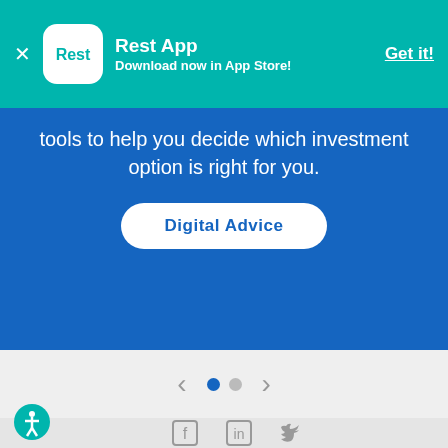[Figure (screenshot): App banner for 'Rest App' with teal background, showing close button, app icon with 'Rest' logo, app name, subtitle 'Download now in App Store!', and 'Get it!' link]
tools to help you decide which investment option is right for you.
[Figure (screenshot): Digital Advice button on blue hero background]
[Figure (screenshot): Carousel navigation with left arrow, two dots (first active/blue, second inactive/gray), and right arrow on light gray background]
[Figure (screenshot): Footer area with social media icons (Facebook, LinkedIn, Twitter) on light gray background, accessibility icon on left, and partial award badge icons at bottom]